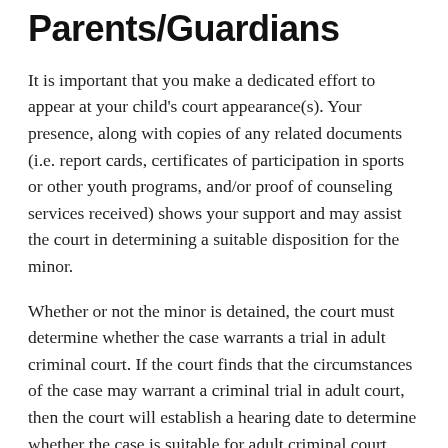Parents/Guardians
It is important that you make a dedicated effort to appear at your child's court appearance(s). Your presence, along with copies of any related documents (i.e. report cards, certificates of participation in sports or other youth programs, and/or proof of counseling services received) shows your support and may assist the court in determining a suitable disposition for the minor.
Whether or not the minor is detained, the court must determine whether the case warrants a trial in adult criminal court. If the court finds that the circumstances of the case may warrant a criminal trial in adult court, then the court will establish a hearing date to determine whether the case is suitable for adult criminal court. This type of